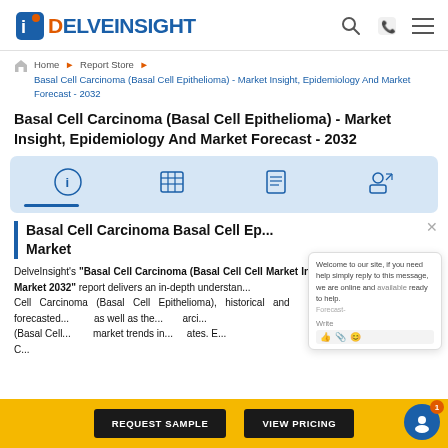DelveInsight
Home > Report Store > Basal Cell Carcinoma (Basal Cell Epithelioma) - Market Insight, Epidemiology And Market Forecast - 2032
Basal Cell Carcinoma (Basal Cell Epithelioma) - Market Insight, Epidemiology And Market Forecast - 2032
[Figure (infographic): Tab bar with four icons: info, table/grid, list/report, and user/profile icons on a light blue background with a blue indicator line below the first tab]
Basal Cell Carcinoma Basal Cell Ep... Market
DelveInsight's "Basal Cell Carcinoma (Basal Cell Cell Market Insights, Epidemiology, and Market 2032" report delivers an in-depth understanding... Cell Carcinoma (Basal Cell Epithelioma), historical and forecasted... as well as the... (Basal Cell... market trends in... states. E... C...